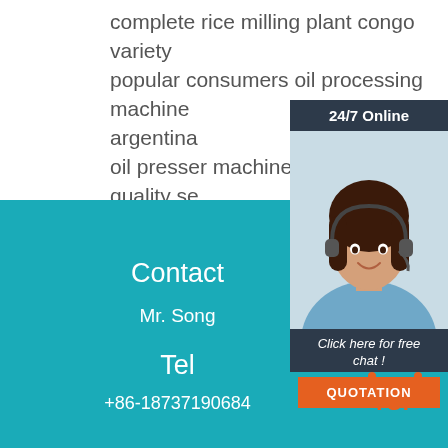complete rice milling plant congo variety popular consumers oil processing machine argentina oil presser machine zimbabwe quality service rest assured peanut oil making machine philippines
[Figure (other): Customer service chat widget overlay showing a woman with headset, '24/7 Online' banner, 'Click here for free chat!' text, and an orange QUOTATION button]
Contact
Mr. Song
Tel
+86-18737190684
[Figure (logo): Orange TOP logo with dot-triangle design in bottom right corner]